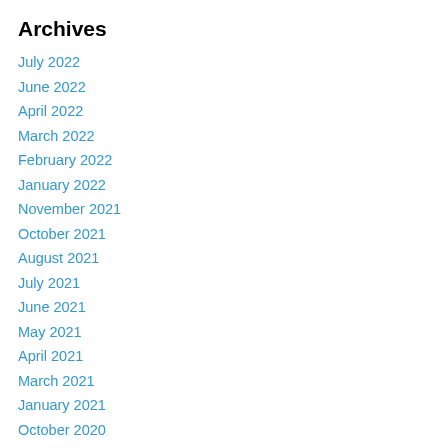Archives
July 2022
June 2022
April 2022
March 2022
February 2022
January 2022
November 2021
October 2021
August 2021
July 2021
June 2021
May 2021
April 2021
March 2021
January 2021
October 2020
September 2020
August 2020